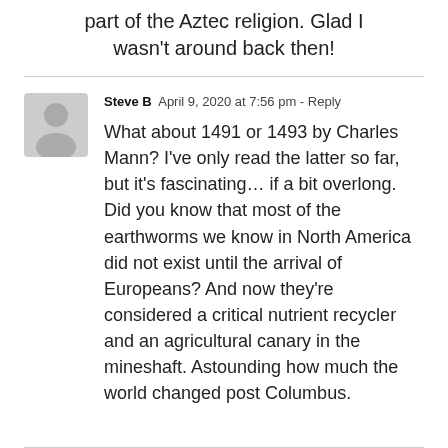part of the Aztec religion. Glad I wasn't around back then!
Steve B  April 9, 2020 at 7:56 pm - Reply

What about 1491 or 1493 by Charles Mann? I've only read the latter so far, but it's fascinating… if a bit overlong. Did you know that most of the earthworms we know in North America did not exist until the arrival of Europeans? And now they're considered a critical nutrient recycler and an agricultural canary in the mineshaft. Astounding how much the world changed post Columbus.